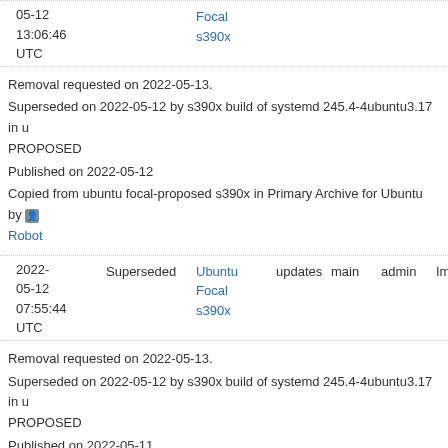| Date | Status | Distribution | Pocket | Component | Admin | Urgency |
| --- | --- | --- | --- | --- | --- | --- |
| 2022-05-12 13:06:46 UTC | Superseded | Ubuntu Focal s390x | updates | main | admin | Important |
Removal requested on 2022-05-13.
Superseded on 2022-05-12 by s390x build of systemd 245.4-4ubuntu3.17 in ubuntu PROPOSED
Published on 2022-05-12
Copied from ubuntu focal-proposed s390x in Primary Archive for Ubuntu by Robot
| Date | Status | Distribution | Pocket | Component | Admin | Urgency |
| --- | --- | --- | --- | --- | --- | --- |
| 2022-05-12 07:55:44 UTC | Superseded | Ubuntu Focal s390x | updates | main | admin | Important |
Removal requested on 2022-05-13.
Superseded on 2022-05-12 by s390x build of systemd 245.4-4ubuntu3.17 in ubuntu PROPOSED
Published on 2022-05-11
Copied from ubuntu focal-proposed s390x in Primary Archive for Ubuntu by Robot
| Date | Status | Distribution | Pocket | Component | Admin | Urgency |
| --- | --- | --- | --- | --- | --- | --- |
| 2022-05-11 19:11:47 UTC | Superseded | Ubuntu Focal s390x | updates | main | admin | Important |